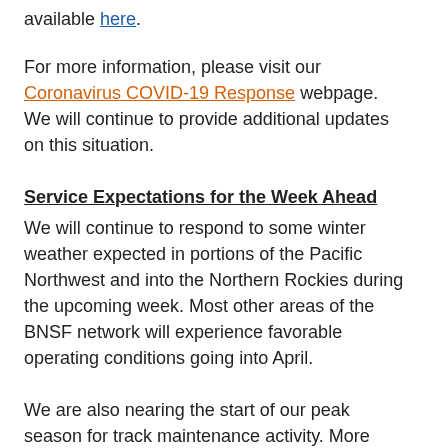available here.
For more information, please visit our Coronavirus COVID-19 Response webpage. We will continue to provide additional updates on this situation.
Service Expectations for the Week Ahead
We will continue to respond to some winter weather expected in portions of the Pacific Northwest and into the Northern Rockies during the upcoming week. Most other areas of the BNSF network will experience favorable operating conditions going into April.
We are also nearing the start of our peak season for track maintenance activity. More projects are underway across multiple areas of the network, particularly in central and southern California as well as portions of our Southern Transcon. As always, we are coordinating with engineering teams as effectively as possible to